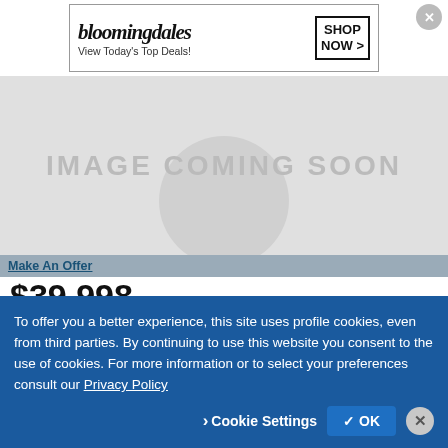[Figure (other): Bloomingdale's advertisement banner: logo text 'bloomingdales', tagline 'View Today's Top Deals!', image of woman in hat, 'SHOP NOW >' button]
[Figure (other): Gray placeholder image with text 'IMAGE COMING SOON' and a faint camera circle icon]
Make An Offer
$39,998
2015 ISUZU NPR HD Cab Chassis
99,000 miles
Roesch Ford - Website
Bensenvile, IL
To offer you a better experience, this site uses profile cookies, even from third parties. By continuing to use this website you consent to the use of cookies. For more information or to select your preferences consult our Privacy Policy
Cookie Settings
✓ OK